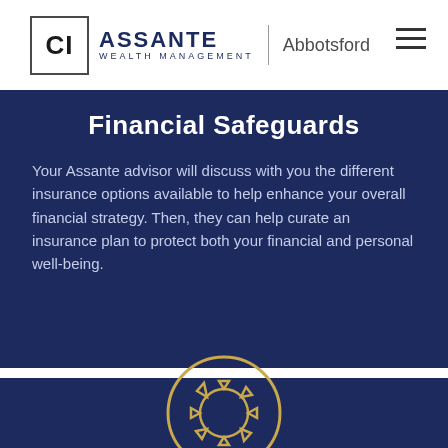CI Assante Wealth Management | Abbotsford
Financial Safeguards
Your Assante advisor will discuss with you the different insurance options available to help enhance your overall financial strategy. Then, they can help curate an insurance plan to protect both your financial and personal well-being.
[Figure (illustration): Gold/tan circular sun icon on dark navy blue background, consisting of an outer circle with a stylized sun or gear shape inside, drawn in outline style with a gold/amber color.]